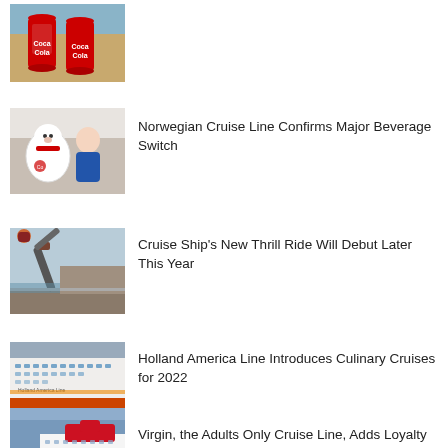[Figure (photo): Two Coca-Cola cans on a sandy beach]
[Figure (photo): Person with Coca-Cola polar bear mascot]
Norwegian Cruise Line Confirms Major Beverage Switch
[Figure (photo): Thrill ride mechanical arm on a cruise ship deck]
Cruise Ship's New Thrill Ride Will Debut Later This Year
[Figure (photo): Holland America cruise ship exterior side view]
Holland America Line Introduces Culinary Cruises for 2022
[Figure (photo): Virgin cruise ship with red funnel]
Virgin, the Adults Only Cruise Line, Adds Loyalty Status Matching